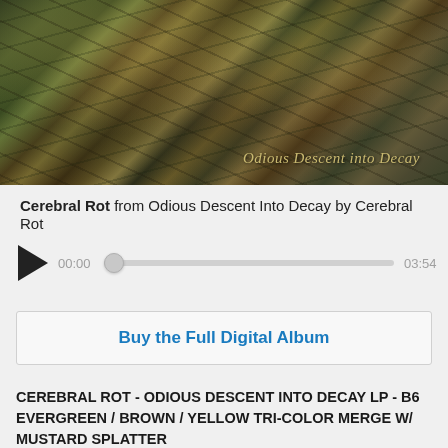[Figure (illustration): Album artwork for Odious Descent into Decay by Cerebral Rot — dark swirling organic textures in greens, browns, yellows and blacks with the album title 'Odious Descent into Decay' in gold italic text overlaid on the lower right of the image.]
Cerebral Rot from Odious Descent Into Decay by Cerebral Rot
00:00  03:54
Buy the Full Digital Album
CEREBRAL ROT - ODIOUS DESCENT INTO DECAY LP - B6 EVERGREEN / BROWN / YELLOW TRI-COLOR MERGE W/ MUSTARD SPLATTER